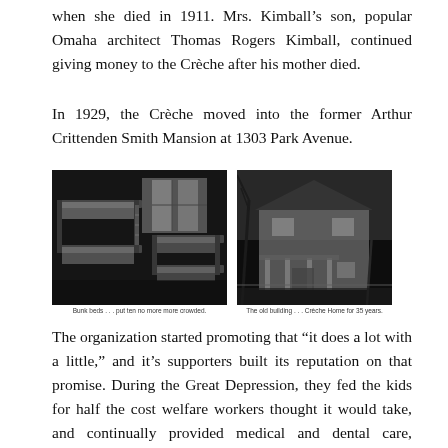when she died in 1911. Mrs. Kimball’s son, popular Omaha architect Thomas Rogers Kimball, continued giving money to the Crèche after his mother died.
In 1929, the Crèche moved into the former Arthur Crittenden Smith Mansion at 1303 Park Avenue.
[Figure (photo): Two black and white photographs side by side. Left photo shows bunk beds inside a dormitory room with a window. Right photo shows an exterior view of a large two-story house with a porch, bare trees visible.]
Bunk beds . . . put ten no more more crowded.
The old building . . . Crèche Home for 35 years.
The organization started promoting that “it does a lot with a little,” and it’s supporters built its reputation on that promise. During the Great Depression, they fed the kids for half the cost welfare workers thought it would take, and continually provided medical and dental care, recreational needs, clothing and salaries for the staff of six.